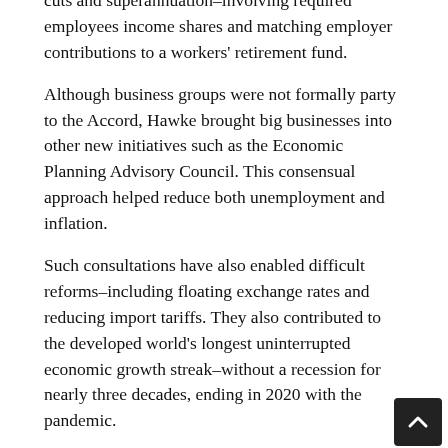cuts and superannuation–involving required employees income shares and matching employer contributions to a workers' retirement fund.
Although business groups were not formally party to the Accord, Hawke brought big businesses into other new initiatives such as the Economic Planning Advisory Council. This consensual approach helped reduce both unemployment and inflation.
Such consultations have also enabled difficult reforms–including floating exchange rates and reducing import tariffs. They also contributed to the developed world's longest uninterrupted economic growth streak–without a recession for nearly three decades, ending in 2020 with the pandemic.
Social partnerships
A variety of such approaches exist. For example, Norway's kombiniert oppgjior, from 1976, involved n…